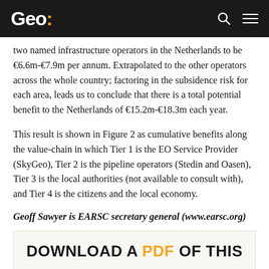Geo:
two named infrastructure operators in the Netherlands to be €6.6m-€7.9m per annum. Extrapolated to the other operators across the whole country; factoring in the subsidence risk for each area, leads us to conclude that there is a total potential benefit to the Netherlands of €15.2m-€18.3m each year.
This result is shown in Figure 2 as cumulative benefits along the value-chain in which Tier 1 is the EO Service Provider (SkyGeo), Tier 2 is the pipeline operators (Stedin and Oasen), Tier 3 is the local authorities (not available to consult with), and Tier 4 is the citizens and the local economy.
Geoff Sawyer is EARSC secretary general (www.earsc.org)
DOWNLOAD A PDF OF THIS